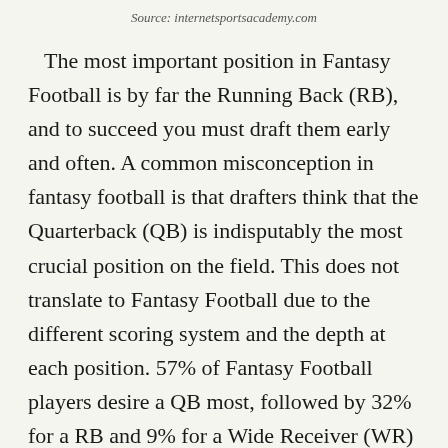Source: internetsportsacademy.com
The most important position in Fantasy Football is by far the Running Back (RB), and to succeed you must draft them early and often. A common misconception in fantasy football is that drafters think that the Quarterback (QB) is indisputably the most crucial position on the field. This does not translate to Fantasy Football due to the different scoring system and the depth at each position. 57% of Fantasy Football players desire a QB most, followed by 32% for a RB and 9% for a Wide Receiver (WR) according to the New York Post. This misguided perspective will ultimately put you in the loser's bracket come playoff time. To support the idea that